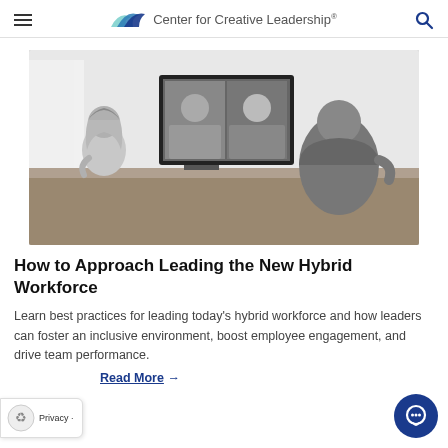Center for Creative Leadership
[Figure (photo): Black and white photo of a hybrid meeting scene: a person on the left and a person on the right (seen from behind) sit at a conference table facing a large monitor displaying a video call with remote participants.]
How to Approach Leading the New Hybrid Workforce
Learn best practices for leading today's hybrid workforce and how leaders can foster an inclusive environment, boost employee engagement, and drive team performance.
Read More →